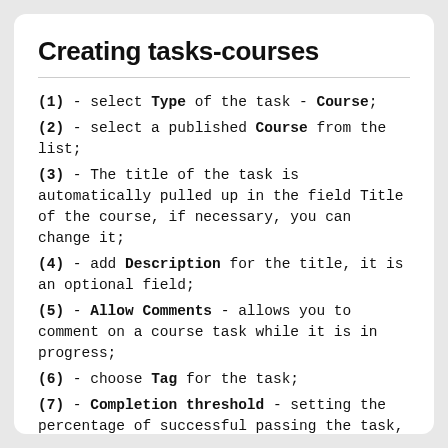Creating tasks-courses
(1) - select Type of the task - Course;
(2) - select a published Course from the list;
(3) - The title of the task is automatically pulled up in the field Title of the course, if necessary, you can change it;
(4) - add Description for the title, it is an optional field;
(5) - Allow Comments - allows you to comment on a course task while it is in progress;
(6) - choose Tag for the task;
(7) - Completion threshold - setting the percentage of successful passing the task, from 0 to 100;
(8) - Transform result on scale - additional output of the result for the course according to the value on the selected scale;